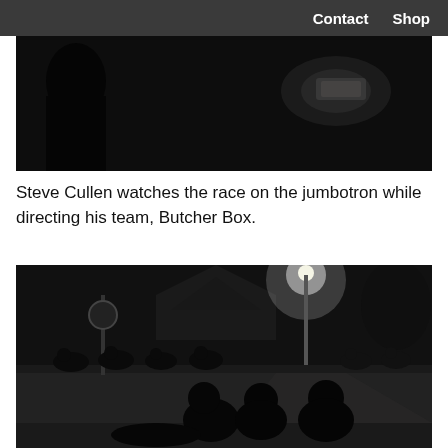Contact   Shop
[Figure (photo): Black and white photo of a person (Steve Cullen) watching a race on a jumbotron, very dark scene with silhouetted figures]
Steve Cullen watches the race on the jumbotron while directing his team, Butcher Box.
[Figure (photo): Black and white night photo of a cycling race on a street. Silhouettes of cyclists racing past a Victorian house with a bright street light. Spectators sit on the curb in the foreground.]